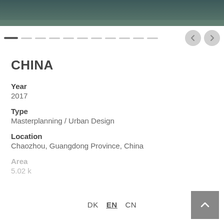[Figure (photo): Top cropped aerial/landscape photo, dark teal/green tones]
[Figure (other): Slideshow navigation: one active dark dash followed by multiple grey dashes, with previous and next circular arrow buttons]
CHINA
Year
2017
Type
Masterplanning / Urban Design
Location
Chaozhou, Guangdong Province, China
Area
5.02 k
DK  EN  CN